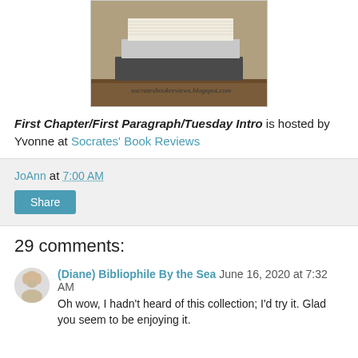[Figure (photo): A stack of books on a wooden surface with the watermark text 'socratesbookreviews.blogspot.com']
First Chapter/First Paragraph/Tuesday Intro is hosted by Yvonne at Socrates' Book Reviews
JoAnn at 7:00 AM
Share
29 comments:
(Diane) Bibliophile By the Sea  June 16, 2020 at 7:32 AM
Oh wow, I hadn't heard of this collection; I'd try it. Glad you seem to be enjoying it.